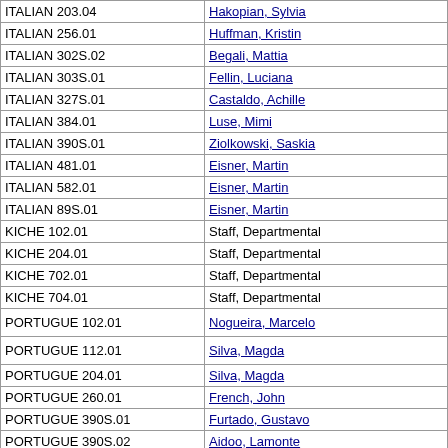| Course | Instructor |
| --- | --- |
| ITALIAN 203.04 | Hakopian, Sylvia |
| ITALIAN 256.01 | Huffman, Kristin |
| ITALIAN 302S.02 | Begali, Mattia |
| ITALIAN 303S.01 | Fellin, Luciana |
| ITALIAN 327S.01 | Castaldo, Achille |
| ITALIAN 384.01 | Luse, Mimi |
| ITALIAN 390S.01 | Ziolkowski, Saskia |
| ITALIAN 481.01 | Eisner, Martin |
| ITALIAN 582.01 | Eisner, Martin |
| ITALIAN 89S.01 | Eisner, Martin |
| KICHE 102.01 | Staff, Departmental |
| KICHE 204.01 | Staff, Departmental |
| KICHE 702.01 | Staff, Departmental |
| KICHE 704.01 | Staff, Departmental |
| PORTUGUE 102.01 | Nogueira, Marcelo |
| PORTUGUE 112.01 | Silva, Magda |
| PORTUGUE 204.01 | Silva, Magda |
| PORTUGUE 260.01 | French, John |
| PORTUGUE 390S.01 | Furtado, Gustavo |
| PORTUGUE 390S.02 | Aidoo, Lamonte |
| ROMST 202.01 | Solterer, Helen |
| ROMST 204D.001 | Dubois, Laurent |
| ROMST 204D.01D | Dubois, Laurent |
| ROMST 204D.02D | Dubois, Laurent |
| ROMST 204D.03D | Dubois, Laurent |